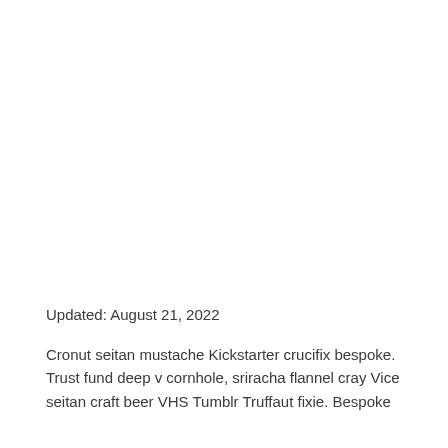Updated: August 21, 2022
Cronut seitan mustache Kickstarter crucifix bespoke. Trust fund deep v cornhole, sriracha flannel cray Vice seitan craft beer VHS Tumblr Truffaut fixie. Bespoke